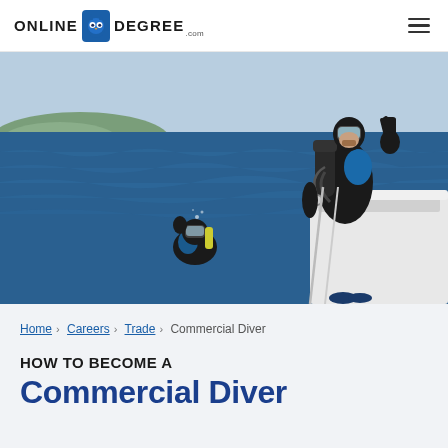ONLINE DEGREE .COM
[Figure (photo): Two scuba divers near a boat on the ocean. One diver in a black and blue wetsuit with full scuba gear stands on the boat ladder waving, while another diver is in the water in the background. Mountains and islands are visible in the distance.]
Home > Careers > Trade > Commercial Diver
HOW TO BECOME A Commercial Diver